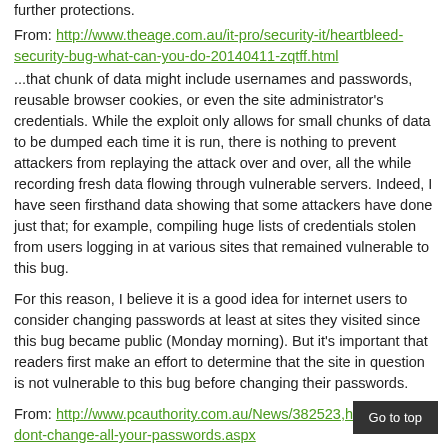further protections.
From: http://www.theage.com.au/it-pro/security-it/heartbleed-security-bug-what-can-you-do-20140411-zqtff.html
...that chunk of data might include usernames and passwords, reusable browser cookies, or even the site administrator's credentials. While the exploit only allows for small chunks of data to be dumped each time it is run, there is nothing to prevent attackers from replaying the attack over and over, all the while recording fresh data flowing through vulnerable servers. Indeed, I have seen firsthand data showing that some attackers have done just that; for example, compiling huge lists of credentials stolen from users logging in at various sites that remained vulnerable to this bug.
For this reason, I believe it is a good idea for internet users to consider changing passwords at least at sites they visited since this bug became public (Monday morning). But it's important that readers first make an effort to determine that the site in question is not vulnerable to this bug before changing their passwords.
From: http://www.pcauthority.com.au/News/382523,heartbleed-dont-change-all-your-passwords.aspx
Security experts warn that changing internet passwords now